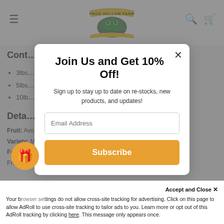Frog Hollow Farm – navigation header with logo, hamburger menu, search and cart icons
Cont…
3lbs…
5lbs…
10lb…
Deta…
Fruit: Avo…
Variety: M…
Farm: Tw…
Fro…
[Figure (screenshot): Modal popup dialog overlay on Frog Hollow Farm website with title 'Join Us and Get 10% Off!', subtitle 'Sign up to stay up to date on re-stocks, new products, and updates!', an Email Address input field, and a Subscribe button.]
Accept and Close ×
Your browser settings do not allow cross-site tracking for advertising. Click on this page to allow AdRoll to use cross-site tracking to tailor ads to you. Learn more or opt out of this AdRoll tracking by clicking here. This message only appears once.